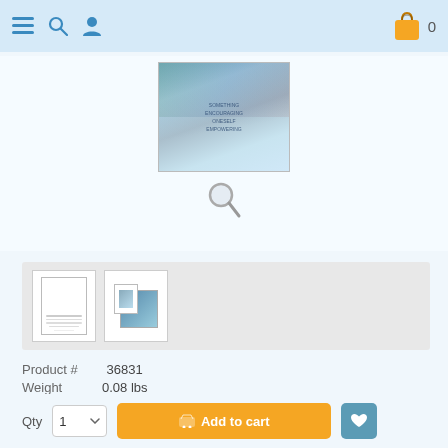Navigation bar with menu, search, user icons and shopping cart showing 0
[Figure (photo): Product main image - decorative card with blue/teal floral design and text overlay]
[Figure (photo): Thumbnail strip showing two product view thumbnails - front and back/set view]
Product # 36831
Weight 0.08 lbs
Price: $ 6.49
Qty 1  Add to cart  [wishlist]